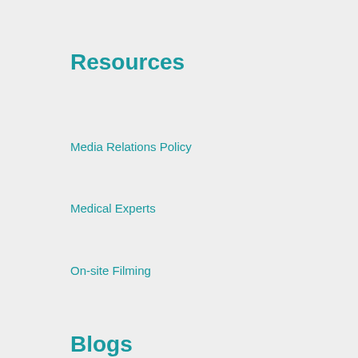Resources
Media Relations Policy
Medical Experts
On-site Filming
Blogs
ResearCHLA Blog
CHLA Blog
Publications
Imagine Magazine
ResearCHLA Magazine
Community Benefit Report